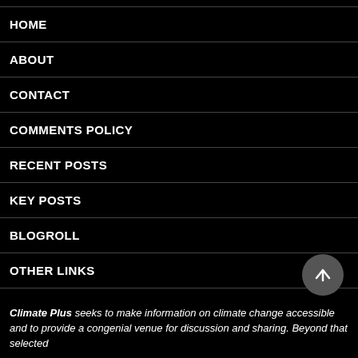HOME
ABOUT
CONTACT
COMMENTS POLICY
RECENT POSTS
KEY POSTS
BLOGROLL
OTHER LINKS
SELECTED CLIMATE SITES
Climate Plus seeks to make information on climate change accessible and to provide a congenial venue for discussion and sharing. Beyond that selected